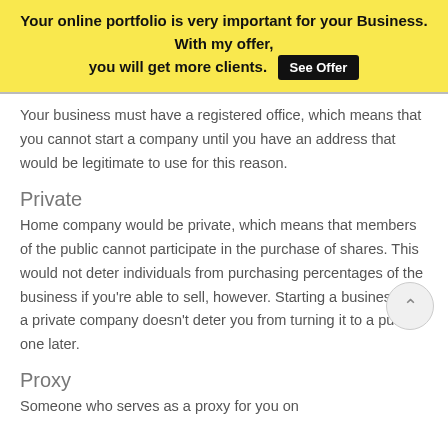Your online portfolio is very important for your Business. With my offer, you will get more clients. See Offer
Your business must have a registered office, which means that you cannot start a company until you have an address that would be legitimate to use for this reason.
Private
Home company would be private, which means that members of the public cannot participate in the purchase of shares. This would not deter individuals from purchasing percentages of the business if you're able to sell, however. Starting a business as a private company doesn't deter you from turning it to a public one later.
Proxy
Someone who serves as a proxy for you on